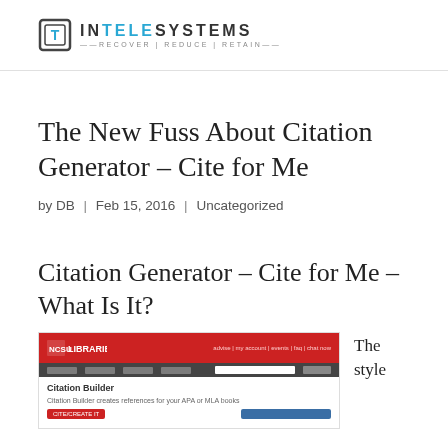INTELE SYSTEMS — RECOVER | REDUCE | RETAIN —
The New Fuss About Citation Generator – Cite for Me
by DB | Feb 15, 2016 | Uncategorized
Citation Generator – Cite for Me – What Is It?
[Figure (screenshot): Screenshot of NCSU Libraries Citation Builder webpage showing red header with logo, dark navigation bar, and Citation Builder form below.]
The style